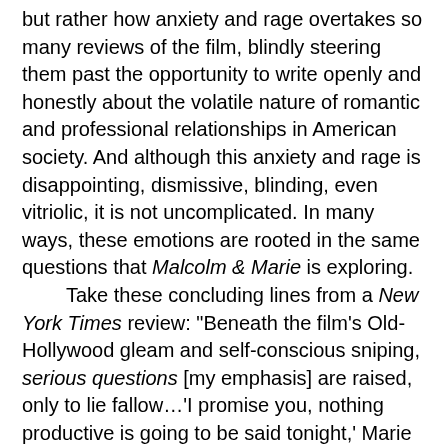but rather how anxiety and rage overtakes so many reviews of the film, blindly steering them past the opportunity to write openly and honestly about the volatile nature of romantic and professional relationships in American society. And although this anxiety and rage is disappointing, dismissive, blinding, even vitriolic, it is not uncomplicated. In many ways, these emotions are rooted in the same questions that Malcolm & Marie is exploring.
	Take these concluding lines from a New York Times review: "Beneath the film's Old-Hollywood gleam and self-conscious sniping, serious questions [my emphasis] are raised, only to lie fallow…'I promise you, nothing productive is going to be said tonight,' Marie says near the beginning of the movie. Sadly, she's telling the truth." The review briefly alludes to  the "serious questions" that the film raises about the volatile nature of race and gender and neoliberalism within professional and romantic relationships, but ultimately the review steers past these questions and dismisses the movie. It is fitting that the review does so by implying that the movie achieves nothing resembling "productivity." It's a rhetorical move that many reviewers made, one meant to undercut the film's legitimacy, its artistic worth and value,